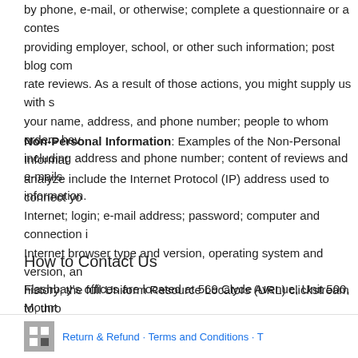by phone, e-mail, or otherwise; complete a questionnaire or a contest; providing employer, school, or other such information; post blog comments; rate reviews. As a result of those actions, you might supply us with such as your name, address, and phone number; people to whom orders have been sent, including address and phone number; content of reviews and e-mails to us; and other information.
Non-Personal Information: Examples of the Non-Personal Information we analyze include the Internet Protocol (IP) address used to connect your computer to the Internet; login; e-mail address; password; computer and connection information such as Internet browser type and version, operating system and version, and purchase history; the full Uniform Resource Locators (URL) clickstream to, through, and from our website, including date and time; websites you were on before you visited us; page addresses, or areas of site being clicked on most often; cookie number; and products you viewed or searched for.
How to Contact Us
Flashbay's offices are located at 569 Clyde Avenue, Unit 500, Mountain View, CA 94043, and you may also contact us by email at contact@flashbay.com or by phone at (650) 965-0408.
Return & Refund · Terms and Conditions · ...